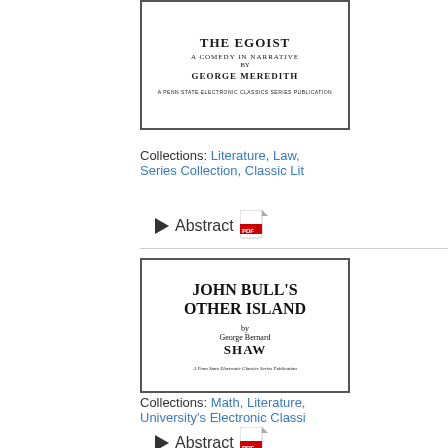[Figure (illustration): Book cover of 'The Egoist: A Comedy in Narrative by George Meredith, A Penn State Electronic Classics Series Publication']
Collections: Literature, Law, Series Collection, Classic Lit
Abstract
[Figure (illustration): Book cover of 'John Bull's Other Island by George Bernard Shaw, A Penn State Electronic Classics Series Publication']
Collections: Math, Literature, University's Electronic Classi
Abstract